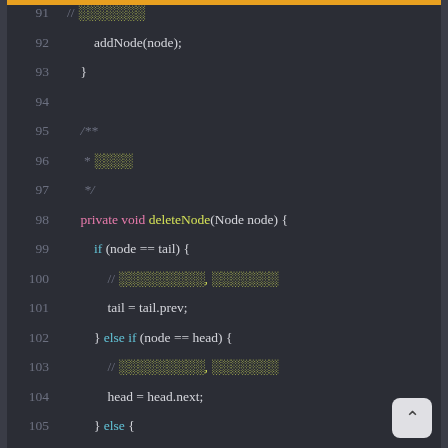[Figure (screenshot): Dark-themed code editor screenshot showing Java linked list code, lines 91-109, with syntax highlighting. Orange top border, gray side borders. Code includes addNode, deleteNode methods with if/else/if structure and redacted Japanese comments.]